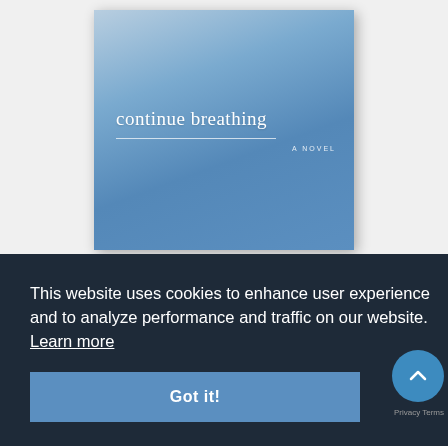[Figure (illustration): Book cover for 'continue breathing: A NOVEL' with a blue gradient background, white title text in serif font, a thin horizontal rule, and subtitle 'A NOVEL' in small caps.]
This website uses cookies to enhance user experience and to analyze performance and traffic on our website. Learn more
Got it!
A cleareyed, passionate,